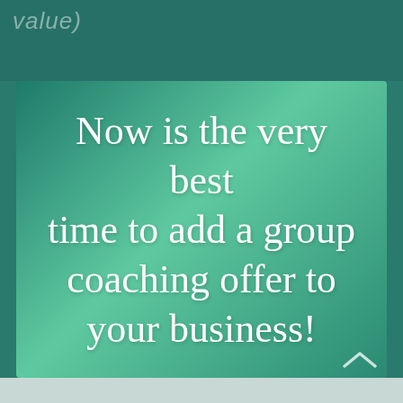value)
[Figure (illustration): Promotional graphic with teal/green gradient background and white cursive text reading: Now is the very best time to add a group coaching offer to your business!]